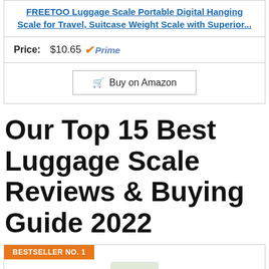FREETOO Luggage Scale Portable Digital Hanging Scale for Travel, Suitcase Weight Scale with Superior...
Price: $10.65 ✓Prime
Buy on Amazon
Our Top 15 Best Luggage Scale Reviews & Buying Guide 2022
BESTSELLER NO. 1